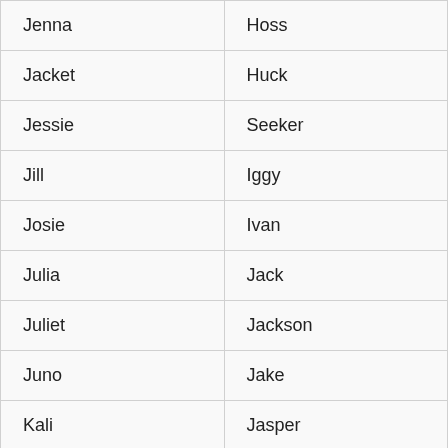| Jenna | Hoss |
| Jacket | Huck |
| Jessie | Seeker |
| Jill | Iggy |
| Josie | Ivan |
| Julia | Jack |
| Juliet | Jackson |
| Juno | Jake |
| Kali | Jasper |
| Kallie | Jax |